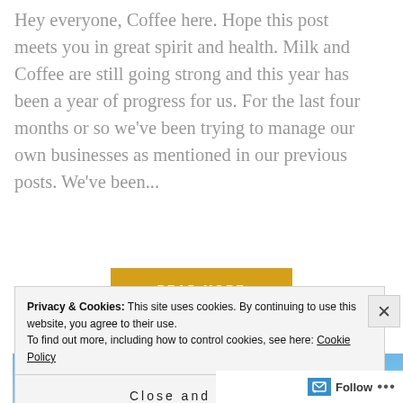Hey everyone, Coffee here. Hope this post meets you in great spirit and health. Milk and Coffee are still going strong and this year has been a year of progress for us. For the last four months or so we've been trying to manage our own businesses as mentioned in our previous posts. We've been...
[Figure (other): READ MORE button — golden/yellow rectangular button with white uppercase bold text]
[Figure (other): Blue gradient banner image area]
Privacy & Cookies: This site uses cookies. By continuing to use this website, you agree to their use. To find out more, including how to control cookies, see here: Cookie Policy
Close and accept
Follow ...